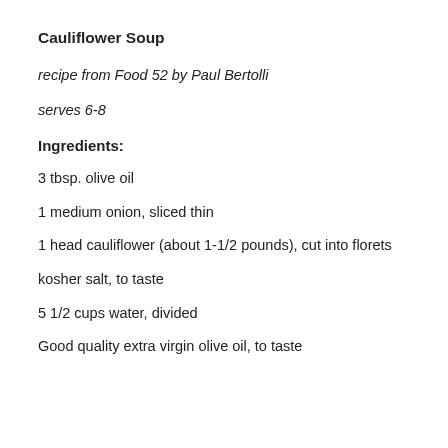Cauliflower Soup
recipe from Food 52 by Paul Bertolli
serves 6-8
Ingredients:
3 tbsp. olive oil
1 medium onion, sliced thin
1 head cauliflower (about 1-1/2 pounds), cut into florets
kosher salt, to taste
5 1/2 cups water, divided
Good quality extra virgin olive oil, to taste